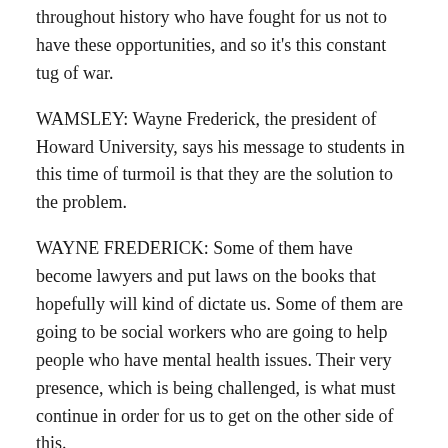throughout history who have fought for us not to have these opportunities, and so it's this constant tug of war.
WAMSLEY: Wayne Frederick, the president of Howard University, says his message to students in this time of turmoil is that they are the solution to the problem.
WAYNE FREDERICK: Some of them have become lawyers and put laws on the books that hopefully will kind of dictate us. Some of them are going to be social workers who are going to help people who have mental health issues. Their very presence, which is being challenged, is what must continue in order for us to get on the other side of this.
WAMSLEY: In the meantime, he says, Howard's campus will take Friday off as a mental health day. Laurel Wamsley, NPR News, Washington.